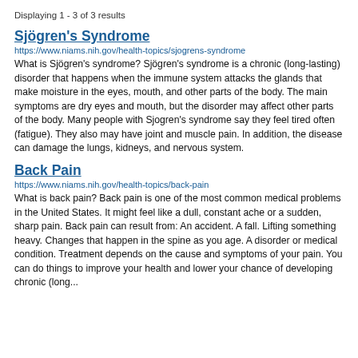Displaying 1 - 3 of 3 results
Sjögren's Syndrome
https://www.niams.nih.gov/health-topics/sjogrens-syndrome
What is Sjögren's syndrome? Sjögren's syndrome is a chronic (long-lasting) disorder that happens when the immune system attacks the glands that make moisture in the eyes, mouth, and other parts of the body. The main symptoms are dry eyes and mouth, but the disorder may affect other parts of the body. Many people with Sjogren's syndrome say they feel tired often (fatigue). They also may have joint and muscle pain. In addition, the disease can damage the lungs, kidneys, and nervous system.
Back Pain
https://www.niams.nih.gov/health-topics/back-pain
What is back pain? Back pain is one of the most common medical problems in the United States. It might feel like a dull, constant ache or a sudden, sharp pain. Back pain can result from: An accident. A fall. Lifting something heavy. Changes that happen in the spine as you age. A disorder or medical condition. Treatment depends on the cause and symptoms of your pain. You can do things to improve your health and lower your chance of developing chronic (long...